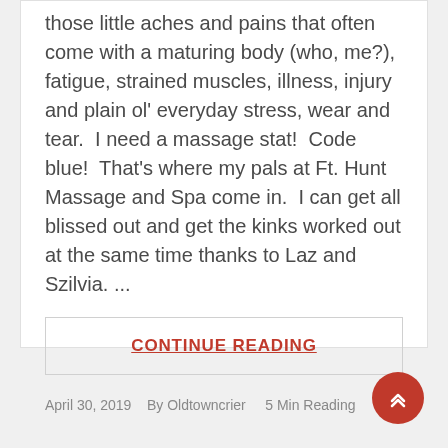those little aches and pains that often come with a maturing body (who, me?), fatigue, strained muscles, illness, injury and plain ol' everyday stress, wear and tear.  I need a massage stat!  Code blue!  That's where my pals at Ft. Hunt Massage and Spa come in.  I can get all blissed out and get the kinks worked out at the same time thanks to Laz and Szilvia. ...
CONTINUE READING
April 30, 2019   By Oldtowncrier    5 Min Reading